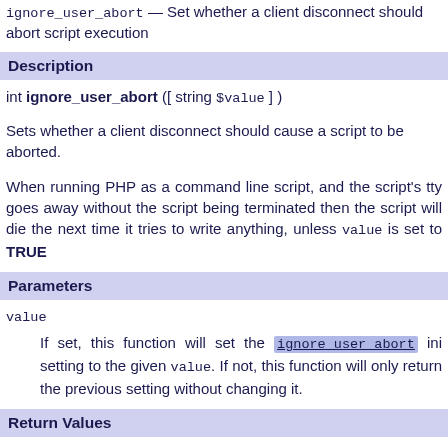ignore_user_abort — Set whether a client disconnect should abort script execution
Description
int ignore_user_abort ([ string $value ] )
Sets whether a client disconnect should cause a script to be aborted.
When running PHP as a command line script, and the script's tty goes away without the script being terminated then the script will die the next time it tries to write anything, unless value is set to TRUE
Parameters
value
If set, this function will set the ignore_user_abort ini setting to the given value. If not, this function will only return the previous setting without changing it.
Return Values